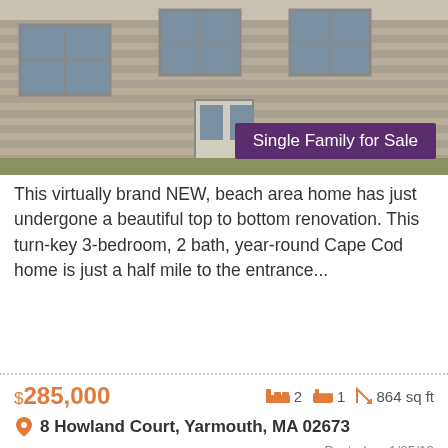[Figure (photo): Exterior photo of a Cape Cod style house with gray shingle siding and white-trimmed windows]
Single Family for Sale
This virtually brand NEW, beach area home has just undergone a beautiful top to bottom renovation. This turn-key 3-bedroom, 2 bath, year-round Cape Cod home is just a half mile to the entrance...
$285,000   🛏2  🛁1  📐 864 sq ft
📍 8 Howland Court, Yarmouth, MA 02673
Posted on 1/25/19
[Figure (photo): Photo of bare tree branches against a blue sky, partial view of a house listing]